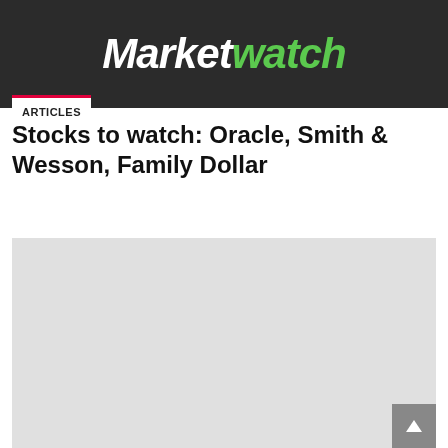[Figure (logo): MarketWatch logo — white italic 'Market' and green italic 'watch' on dark charcoal background]
ARTICLES
Stocks to watch: Oracle, Smith & Wesson, Family Dollar
[Figure (other): Gray placeholder block (advertisement or image placeholder area)]